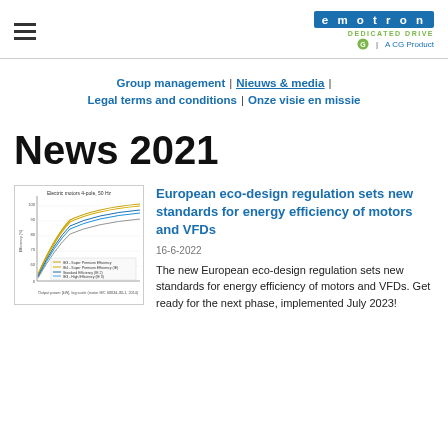emotron | DEDICATED DRIVE | A CG Product
Group management | Nieuws & media | Legal terms and conditions | Onze visie en missie
News 2021
[Figure (continuous-plot): Line chart showing electric motor efficiency curves at 4-pole 50Hz with multiple efficiency class curves plotted against output power]
European eco-design regulation sets new standards for energy efficiency of motors and VFDs
16-6-2022
The new European eco-design regulation sets new standards for energy efficiency of motors and VFDs. Get ready for the next phase, implemented July 2023!